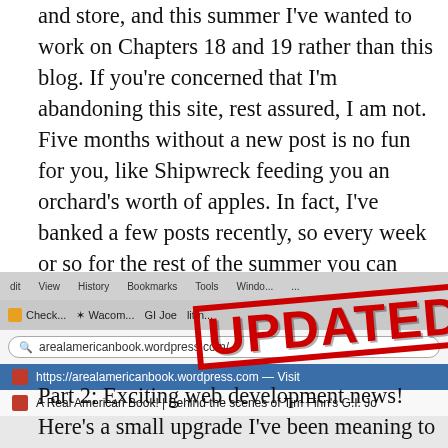and store, and this summer I've wanted to work on Chapters 18 and 19 rather than this blog. If you're concerned that I'm abandoning this site, rest assured, I am not. Five months without a new post is no fun for you, like Shipwreck feeding you an orchard's worth of apples. In fact, I've banked a few posts recently, so every week or so for the rest of the summer you can enjoy some rarely- or never-seen G.I. Joe artwork from the 1980s and '90s!
[Figure (screenshot): Browser screenshot showing arealamericanbook.wordpress.com in the address bar with an 'UPDATED' stamp overlay in red, and dropdown suggestions showing the website URL and title 'A Real American Book! | Behind the scenes of Tim Finn's G.I. Jo...']
Part 2: Exciting web development news! Here's a small upgrade I've been meaning to get around to for at least